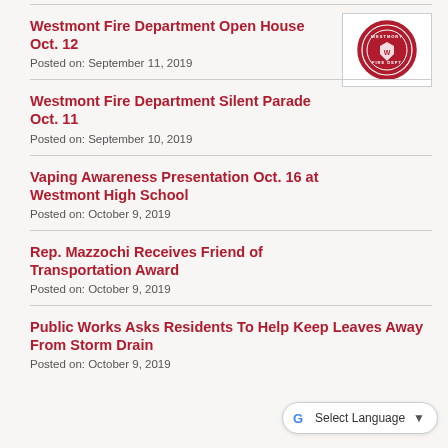Westmont Fire Department Open House Oct. 12
Posted on: September 11, 2019
[Figure (logo): Westmont Fire Department circular red seal/logo]
Westmont Fire Department Silent Parade Oct. 11
Posted on: September 10, 2019
Vaping Awareness Presentation Oct. 16 at Westmont High School
Posted on: October 9, 2019
Rep. Mazzochi Receives Friend of Transportation Award
Posted on: October 9, 2019
Public Works Asks Residents To Help Keep Leaves Away From Storm Drain
Posted on: October 9, 2019